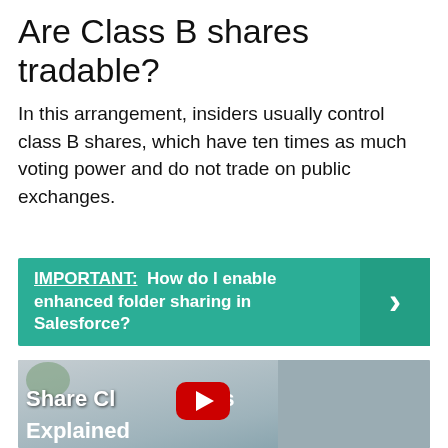Are Class B shares tradable?
In this arrangement, insiders usually control class B shares, which have ten times as much voting power and do not trade on public exchanges.
IMPORTANT: How do I enable enhanced folder sharing in Salesforce?
[Figure (screenshot): Video thumbnail showing 'Share Classes Explained' with a YouTube play button overlay and a man pointing at camera]